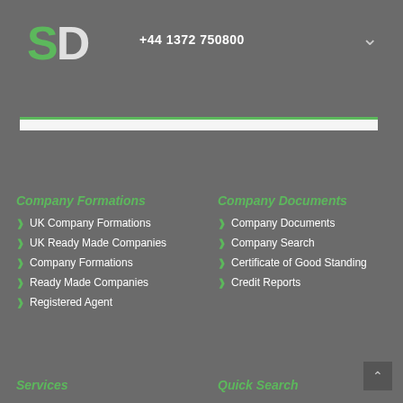SD +44 1372 750800
[Figure (screenshot): White/light gray search input area with green top border]
Company Formations
Company Documents
UK Company Formations
Company Documents
UK Ready Made Companies
Company Search
Company Formations
Certificate of Good Standing
Ready Made Companies
Credit Reports
Registered Agent
Services
Quick Search